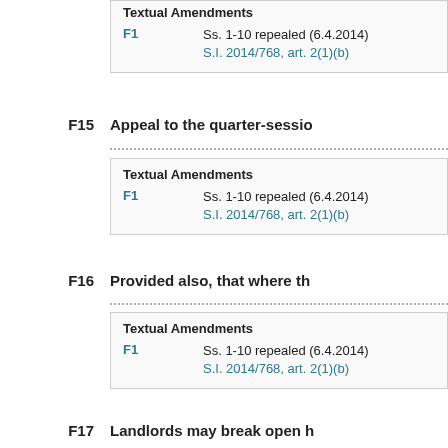Textual Amendments
F1    Ss. 1-10 repealed (6.4.2014) by S.I. 2014/768, art. 2(1)(b)
F15    Appeal to the quarter-sessio...
Textual Amendments
F1    Ss. 1-10 repealed (6.4.2014) by S.I. 2014/768, art. 2(1)(b)
F16    Provided also, that where th...
Textual Amendments
F1    Ss. 1-10 repealed (6.4.2014) by S.I. 2014/768, art. 2(1)(b)
F17    Landlords may break open h...